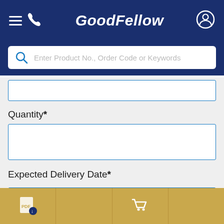GoodFellow - navigation header with hamburger menu, phone icon, logo, and user icon
Enter Product No., Order Code or Keywords
Quantity*
Expected Delivery Date*
Upload Documents (pdf,jpg,gif,png)
Bottom navigation bar with PDF icon and shopping cart icon